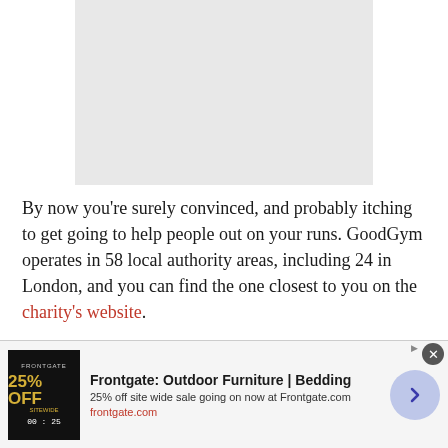[Figure (photo): Light gray placeholder image box]
By now you're surely convinced, and probably itching to get going to help people out on your runs. GoodGym operates in 58 local authority areas, including 24 in London, and you can find the one closest to you on the charity's website.
It takes a week or so after signing up to be assigned tasks for GoodGym, since it involves a background
[Figure (other): Advertisement banner for Frontgate: Outdoor Furniture | Bedding — 25% off site wide sale going on now at Frontgate.com]